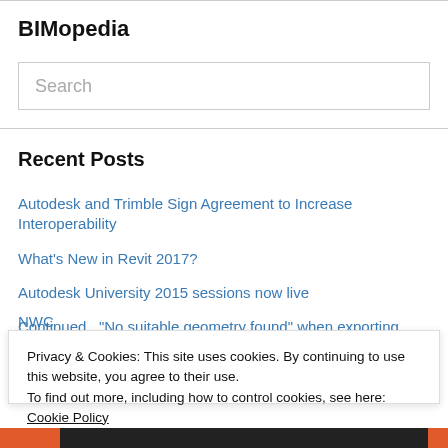BIMopedia
Search
Recent Posts
Autodesk and Trimble Sign Agreement to Increase Interoperability
What's New in Revit 2017?
Autodesk University 2015 sessions now live
Continued.. “No suitable geometry found” when exporting from Revit to NWC
Privacy & Cookies: This site uses cookies. By continuing to use this website, you agree to their use.
To find out more, including how to control cookies, see here: Cookie Policy
Close and accept